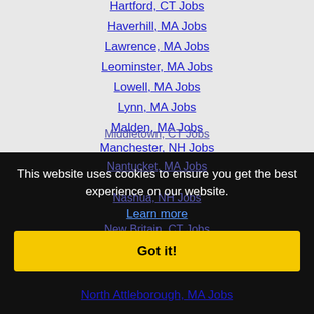Hartford, CT Jobs
Haverhill, MA Jobs
Lawrence, MA Jobs
Leominster, MA Jobs
Lowell, MA Jobs
Lynn, MA Jobs
Malden, MA Jobs
Manchester, NH Jobs
Marthas Vineyard, MA Jobs
Medford, MA Jobs
Middletown, CT Jobs
Nantucket, MA Jobs
Nashua, NH Jobs
New Britain, CT Jobs
Newton, MA Jobs
North Attleborough, MA Jobs
This website uses cookies to ensure you get the best experience on our website.
Learn more
Got it!